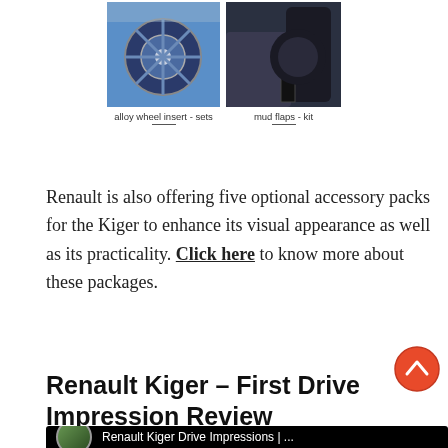[Figure (photo): Two product photos side by side: alloy wheel insert sets (blue car wheel) and mud flaps kit]
alloy wheel insert - sets
mud flaps - kit
Renault is also offering five optional accessory packs for the Kiger to enhance its visual appearance as well as its practicality. Click here to know more about these packages.
Renault Kiger – First Drive Impression Review
[Figure (screenshot): Embedded YouTube video thumbnail showing 'Renault Kiger Drive Impressions | ...' with a circular channel avatar and scroll-to-top orange button]